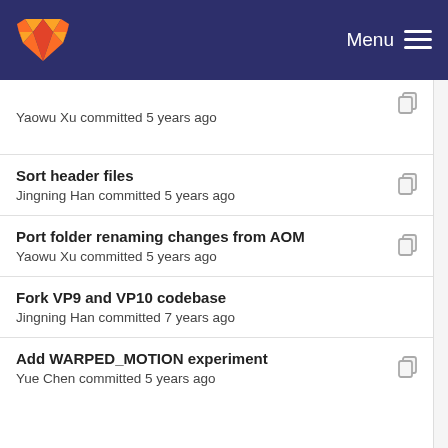GitLab — Menu
Yaowu Xu committed 5 years ago
Sort header files
Jingning Han committed 5 years ago
Port folder renaming changes from AOM
Yaowu Xu committed 5 years ago
Fork VP9 and VP10 codebase
Jingning Han committed 7 years ago
Add WARPED_MOTION experiment
Yue Chen committed 5 years ago
Port renaming changes from AOMedia
Yaowu Xu committed 5 years ago
Bit accounting.
Michael Bebenita committed 5...